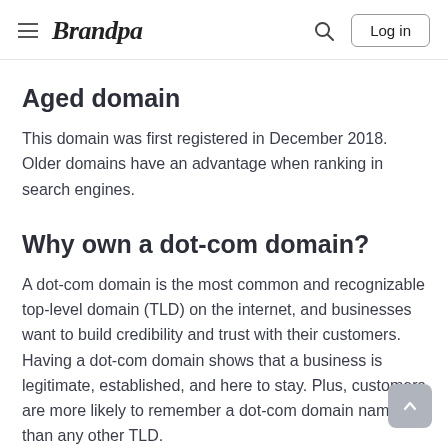Brandpa — Log in
Aged domain
This domain was first registered in December 2018. Older domains have an advantage when ranking in search engines.
Why own a dot-com domain?
A dot-com domain is the most common and recognizable top-level domain (TLD) on the internet, and businesses want to build credibility and trust with their customers. Having a dot-com domain shows that a business is legitimate, established, and here to stay. Plus, customers are more likely to remember a dot-com domain name than any other TLD.